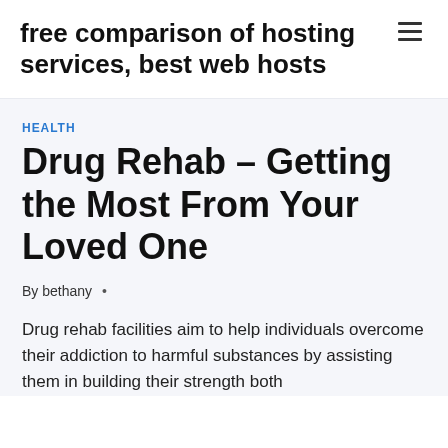free comparison of hosting services, best web hosts
HEALTH
Drug Rehab – Getting the Most From Your Loved One
By bethany •
Drug rehab facilities aim to help individuals overcome their addiction to harmful substances by assisting them in building their strength both